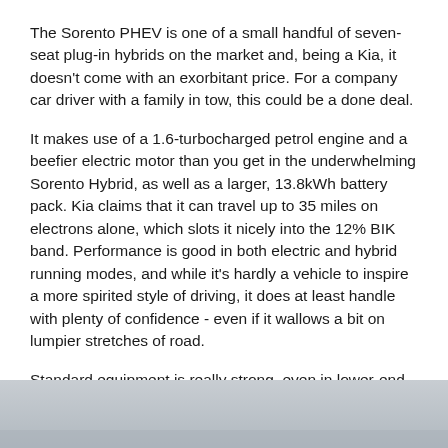The Sorento PHEV is one of a small handful of seven-seat plug-in hybrids on the market and, being a Kia, it doesn't come with an exorbitant price. For a company car driver with a family in tow, this could be a done deal.
It makes use of a 1.6-turbocharged petrol engine and a beefier electric motor than you get in the underwhelming Sorento Hybrid, as well as a larger, 13.8kWh battery pack. Kia claims that it can travel up to 35 miles on electrons alone, which slots it nicely into the 12% BIK band. Performance is good in both electric and hybrid running modes, and while it's hardly a vehicle to inspire a more spirited style of driving, it does at least handle with plenty of confidence - even if it wallows a bit on lumpier stretches of road.
Standard equipment is really strong, even in lower-end models, and the cabin is genuinely vast. Material quality might not be on quite the same level as that of some European rivals, but for sheer utility appeal, the Sorento is tough to beat. Not many seven-seat SUVs can comfortably accommodate adult passengers in their third rows, after all.
[Figure (photo): Partial view of a car or automotive scene, grey/silver tones, cropped at bottom of page]